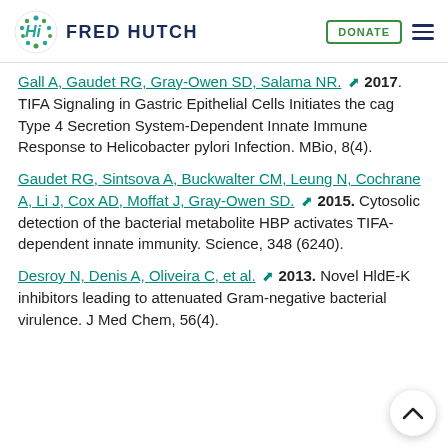FRED HUTCH | DONATE
Gall A, Gaudet RG, Gray-Owen SD, Salama NR. 2017. TIFA Signaling in Gastric Epithelial Cells Initiates the cag Type 4 Secretion System-Dependent Innate Immune Response to Helicobacter pylori Infection. MBio, 8(4).
Gaudet RG, Sintsova A, Buckwalter CM, Leung N, Cochrane A, Li J, Cox AD, Moffat J, Gray-Owen SD. 2015. Cytosolic detection of the bacterial metabolite HBP activates TIFA-dependent innate immunity. Science, 348 (6240).
Desroy N, Denis A, Oliveira C, et al. 2013. Novel HldE-K inhibitors leading to attenuated Gram-negative bacterial virulence. J Med Chem, 56(4).